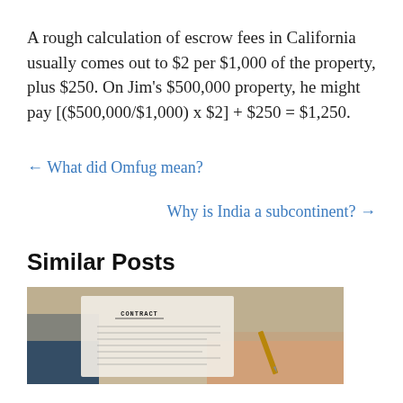A rough calculation of escrow fees in California usually comes out to $2 per $1,000 of the property, plus $250. On Jim's $500,000 property, he might pay [($500,000/$1,000) x $2] + $250 = $1,250.
← What did Omfug mean?
Why is India a subcontinent? →
Similar Posts
[Figure (photo): Photo of hands holding and signing a contract document]